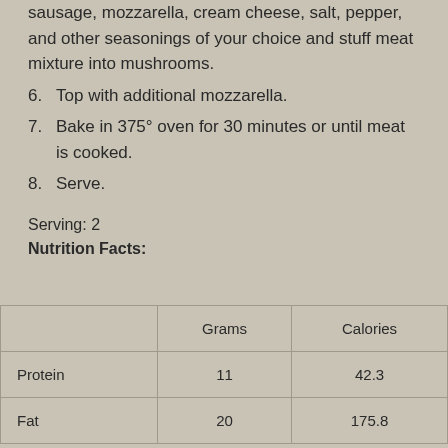sausage, mozzarella, cream cheese, salt, pepper, and other seasonings of your choice and stuff meat mixture into mushrooms.
6. Top with additional mozzarella.
7. Bake in 375° oven for 30 minutes or until meat is cooked.
8. Serve.
Serving: 2
Nutrition Facts:
|  | Grams | Calories |
| --- | --- | --- |
| Protein | 11 | 42.3 |
| Fat | 20 | 175.8 |